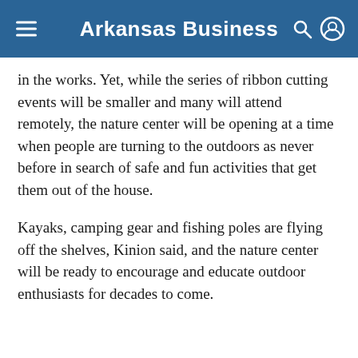Arkansas Business
in the works. Yet, while the series of ribbon cutting events will be smaller and many will attend remotely, the nature center will be opening at a time when people are turning to the outdoors as never before in search of safe and fun activities that get them out of the house.
Kayaks, camping gear and fishing poles are flying off the shelves, Kinion said, and the nature center will be ready to encourage and educate outdoor enthusiasts for decades to come.